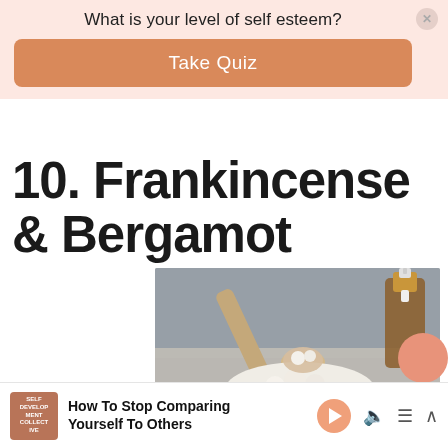What is your level of self esteem?
Take Quiz
10. Frankincense & Bergamot
[Figure (photo): A glass bowl filled with white frankincense resin beads with a wooden spoon resting in it, and an amber essential oil bottle with gold cap in the background, on a dark slate surface. A label overlay reads ESSENTIAL OIL BLEND.]
How To Stop Comparing Yourself To Others